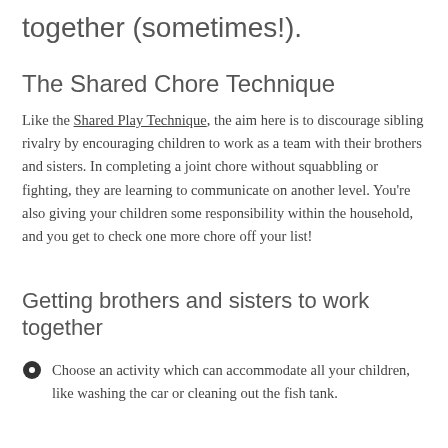together (sometimes!).
The Shared Chore Technique
Like the Shared Play Technique, the aim here is to discourage sibling rivalry by encouraging children to work as a team with their brothers and sisters. In completing a joint chore without squabbling or fighting, they are learning to communicate on another level. You’re also giving your children some responsibility within the household, and you get to check one more chore off your list!
Getting brothers and sisters to work together
Choose an activity which can accommodate all your children, like washing the car or cleaning out the fish tank.